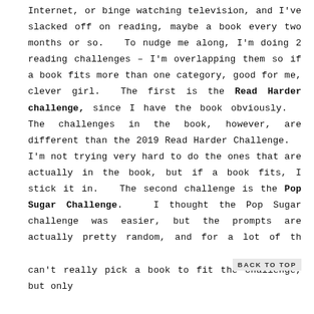Internet, or binge watching television, and I've slacked off on reading, maybe a book every two months or so.  To nudge me along, I'm doing 2 reading challenges – I'm overlapping them so if a book fits more than one category, good for me, clever girl.  The first is the Read Harder challenge, since I have the book obviously.  The challenges in the book, however, are different than the 2019 Read Harder Challenge.  I'm not trying very hard to do the ones that are actually in the book, but if a book fits, I stick it in.  The second challenge is the Pop Sugar Challenge.  I thought the Pop Sugar challenge was easier, but the prompts are actually pretty random, and for a lot of th can't really pick a book to fit the challenge, but only
BACK TO TOP